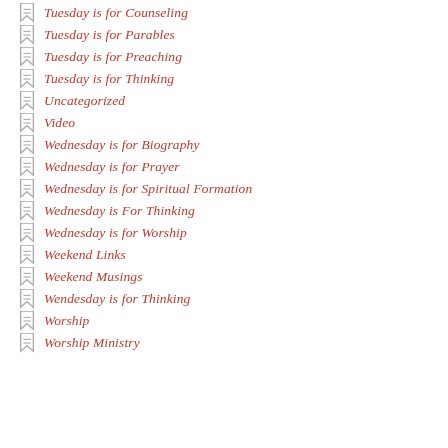Tuesday is for Counseling
Tuesday is for Parables
Tuesday is for Preaching
Tuesday is for Thinking
Uncategorized
Video
Wednesday is for Biography
Wednesday is for Prayer
Wednesday is for Spiritual Formation
Wednesday is For Thinking
Wednesday is for Worship
Weekend Links
Weekend Musings
Wendesday is for Thinking
Worship
Worship Ministry